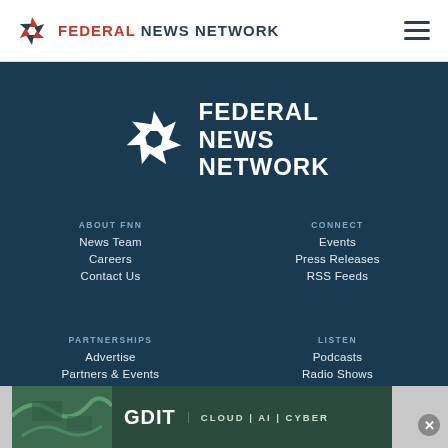Federal News Network
[Figure (logo): Federal News Network large logo on dark blue background]
ABOUT FNN
News Team
Careers
Contact Us
CONNECT
Events
Press Releases
RSS Feeds
PARTNERSHIPS
Advertise
Partners & Events
LISTEN
Podcasts
Radio Shows
[Figure (advertisement): GDIT advertisement banner: CLOUD | AI | CYBER]